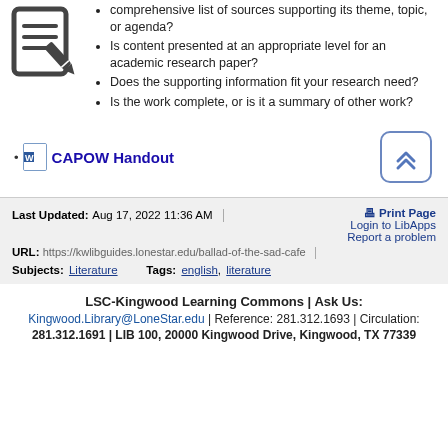comprehensive list of sources supporting its theme, topic, or agenda?
Is content presented at an appropriate level for an academic research paper?
Does the supporting information fit your research need?
Is the work complete, or is it a summary of other work?
[Figure (illustration): Icon of a document with a pencil/pen, representing writing or editing]
CAPOW Handout
Last Updated: Aug 17, 2022 11:36 AM | URL: https://kwlibguides.lonestar.edu/ballad-of-the-sad-cafe
Print Page
Login to LibApps
Report a problem
Subjects: Literature   Tags: english, literature
LSC-Kingwood Learning Commons | Ask Us:
Kingwood.Library@LoneStar.edu | Reference: 281.312.1693 | Circulation: 281.312.1691 | LIB 100, 20000 Kingwood Drive, Kingwood, TX 77339